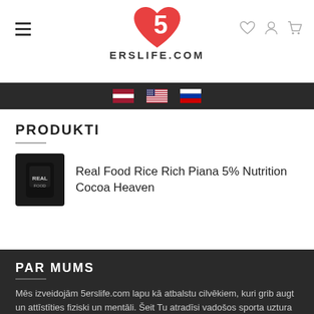[Figure (logo): 5erslife.com logo — red heart shape with white number 5 inside, text ERSLIFE.COM below]
5ERSLIFE.COM
[Figure (infographic): Navigation bar with Latvian, US, and Russian flag icons]
PRODUKTI
[Figure (photo): Product image: dark supplement container for Real Food Rice Rich Piana 5% Nutrition Cocoa Heaven]
Real Food Rice Rich Piana 5% Nutrition Cocoa Heaven
PAR MUMS
Mēs izveidojām 5erslife.com lapu kā atbalstu cilvēkiem, kuri grib augt un attīstīties fiziski un mentāli. Šeit Tu atradīsi vadošos sporta uztura produktus, vērtīgu informāciju par uzturu, treniņu padomus un iepazīsies ar citu cilvēku pieredzi.